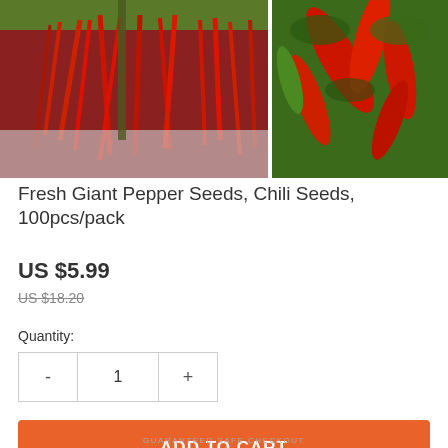[Figure (photo): Two photos of red chili pepper plants. Left photo shows large red chili peppers hanging down from a plant with white irrigation covering below. Right photo shows red and green chili peppers on a plant.]
Fresh Giant Pepper Seeds, Chili Seeds, 100pcs/pack
US $5.99
US $18.20
Quantity:
- 1 +
ADD TO CART
GUARANTEED SAFE CHECKOUT